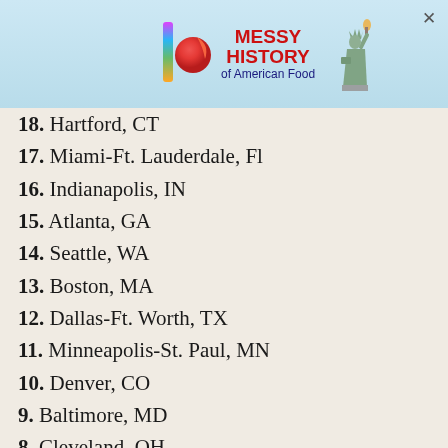[Figure (other): Advertisement banner for 'Messy History of American Food' with colorful logo on left, red and blue text in center, and Statue of Liberty on right]
18. Hartford, CT
17. Miami-Ft. Lauderdale, Fl
16. Indianapolis, IN
15. Atlanta, GA
14. Seattle, WA
13. Boston, MA
12. Dallas-Ft. Worth, TX
11. Minneapolis-St. Paul, MN
10. Denver, CO
9. Baltimore, MD
8. Cleveland, OH
7. Philadelphia, PA
6. Detroit, MI
5. San Francisco, CA
4. Washington, DC